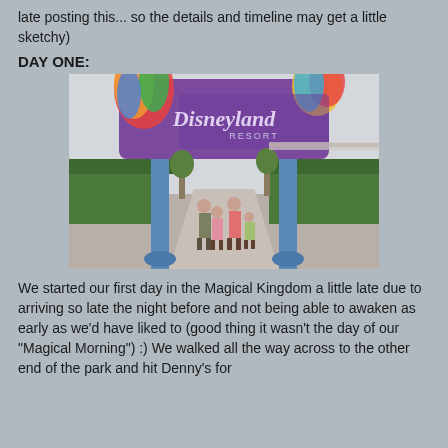late posting this... so the details and timeline may get a little sketchy)
DAY ONE:
[Figure (photo): Family of four posing under the colorful Disneyland Resort entrance arch sign. The sign features the Disneyland Resort logo in purple and blue tones with colorful decorations. A walkway leads toward the park entrance with hedges and columns visible.]
We started our first day in the Magical Kingdom a little late due to arriving so late the night before and not being able to awaken as early as we'd have liked to (good thing it wasn't the day of our "Magical Morning") :) We walked all the way across to the other end of the park and hit Denny's for